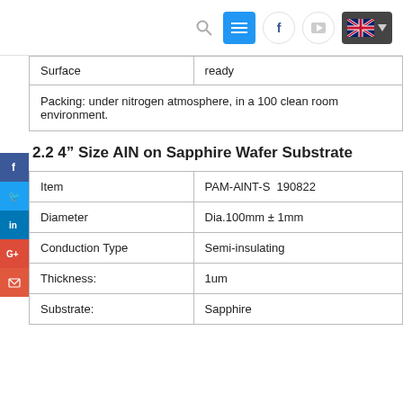Navigation bar with search, menu, facebook, youtube, and UK language selector
| Surface | ready |
| --- | --- |
| Surface | ready |
| Packing: under nitrogen atmosphere, in a 100 clean room environment. |  |
2.2 4” Size AlN on Sapphire Wafer Substrate
| Item | PAM-AlNT-S  190822 |
| --- | --- |
| Item | PAM-AlNT-S  190822 |
| Diameter | Dia.100mm ± 1mm |
| Conduction Type | Semi-insulating |
| Thickness: | 1um |
| Substrate: | Sapphire |